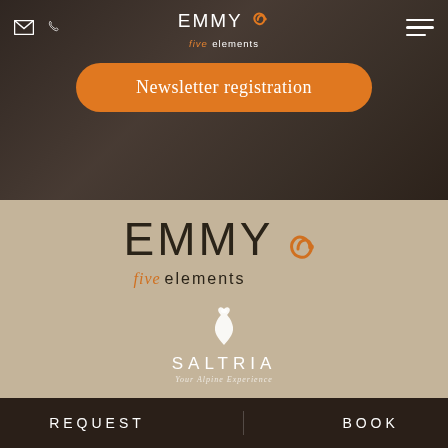[Figure (screenshot): Header navigation bar with email icon, phone icon, Emmy Five Elements logo centered, and hamburger menu icon on dark brown background]
Newsletter registration
[Figure (logo): Emmy Five Elements logo large on tan/beige background - EMMY in large thin letters with orange swirl, five elements in orange italic and dark serif]
[Figure (logo): Saltria Your Alpine Experience logo with white swan/bird icon above SALTRIA text in white uppercase letters]
REQUEST   BOOK